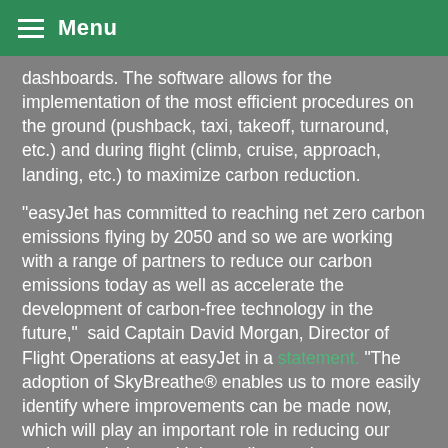≡ Menu
dashboards. The software allows for the implementation of the most efficient procedures on the ground (pushback, taxi, takeoff, turnaround, etc.) and during flight (climb, cruise, approach, landing, etc.) to maximize carbon reduction.
"easyJet has committed to reaching net zero carbon emissions flying by 2050 and so we are working with a range of partners to reduce our carbon emissions today as well as accelerate the development of carbon-free technology in the future,"  said Captain David Morgan, Director of Flight Operations at easyJet in a statement. "The adoption of SkyBreathe® enables us to more easily identify where improvements can be made now, which will play an important role in reducing our carbon emissions with immediate and concrete results. We continue to offset the carbon emissions from the fuel used for all our flights."